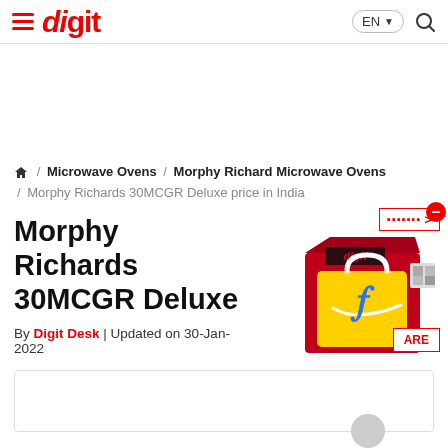≡ digit  EN ▾ 🔍
⌂ / Microwave Ovens / Morphy Richard Microwave Ovens / Morphy Richards 30MCGR Deluxe price in India
Morphy Richards 30MCGR Deluxe
By Digit Desk | Updated on 30-Jan-2022
[Figure (illustration): Flipkart shopping bag illustration on a red cube box with digit branding, with offers badge and remove button overlay]